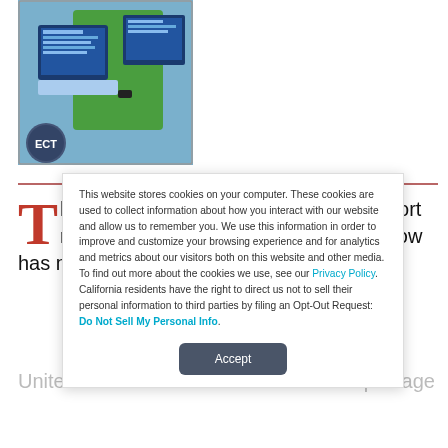[Figure (photo): Photo of a person in a green shirt working at a computer, with an ECT logo badge in the lower left corner]
Through a new deal and some new export rules, Stamps.com (Nasdaq: STMP) now has more marketing muscle both in the United States and abroad for its online postage service
This website stores cookies on your computer. These cookies are used to collect information about how you interact with our website and allow us to remember you. We use this information in order to improve and customize your browsing experience and for analytics and metrics about our visitors both on this website and other media. To find out more about the cookies we use, see our Privacy Policy. California residents have the right to direct us not to sell their personal information to third parties by filing an Opt-Out Request: Do Not Sell My Personal Info.